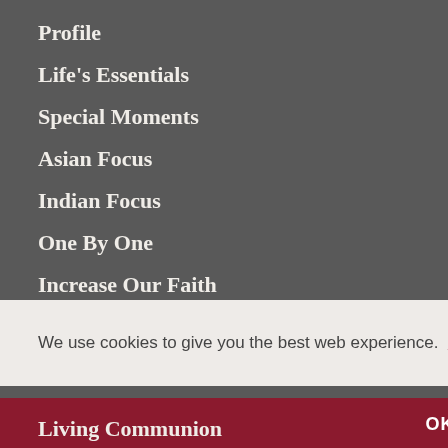Profile
Life's Essentials
Special Moments
Asian Focus
Indian Focus
One By One
Increase Our Faith
Interview
We use cookies to give you the best web experience.  Learn more
OK
Living Communion